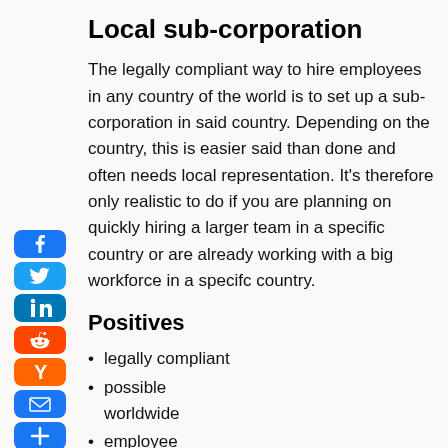Local sub-corporation
The legally compliant way to hire employees in any country of the world is to set up a sub-corporation in said country. Depending on the country, this is easier said than done and often needs local representation. It's therefore only realistic to do if you are planning on quickly hiring a larger team in a specific country or are already working with a big workforce in a specifc country.
Positives
legally compliant
possible worldwide
employee